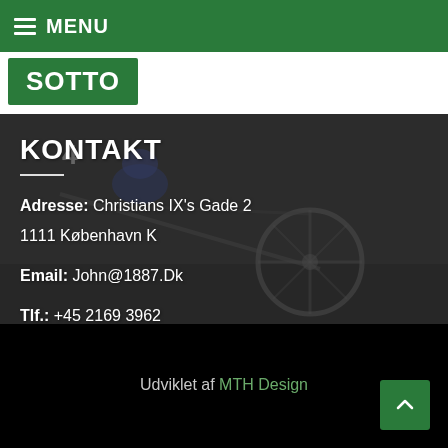MENU
[Figure (logo): Green logo box with text 'SOTTO']
[Figure (photo): Background photo of harness racing horse and driver on sulky, dark/blurred]
KONTAKT
Adresse: Christians IX's Gade 2
1111 København K
Email: John@1887.Dk
Tlf.: +45 2169 3962
Udviklet af MTH Design